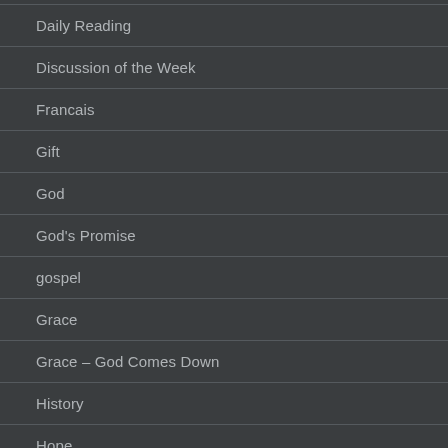Daily Reading
Discussion of the Week
Francais
Gift
God
God's Promise
gospel
Grace
Grace – God Comes Down
History
Hope